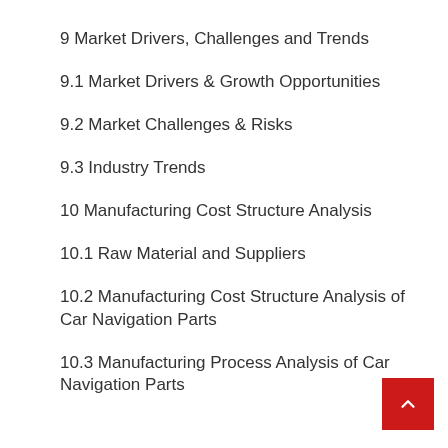9 Market Drivers, Challenges and Trends
9.1 Market Drivers & Growth Opportunities
9.2 Market Challenges & Risks
9.3 Industry Trends
10 Manufacturing Cost Structure Analysis
10.1 Raw Material and Suppliers
10.2 Manufacturing Cost Structure Analysis of Car Navigation Parts
10.3 Manufacturing Process Analysis of Car Navigation Parts